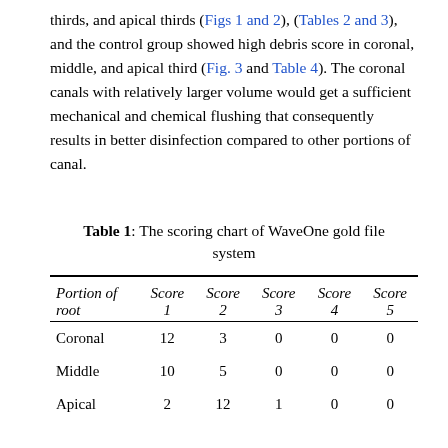thirds, and apical thirds (Figs 1 and 2), (Tables 2 and 3), and the control group showed high debris score in coronal, middle, and apical third (Fig. 3 and Table 4). The coronal canals with relatively larger volume would get a sufficient mechanical and chemical flushing that consequently results in better disinfection compared to other portions of canal.
Table 1: The scoring chart of WaveOne gold file system
| Portion of root | Score 1 | Score 2 | Score 3 | Score 4 | Score 5 |
| --- | --- | --- | --- | --- | --- |
| Coronal | 12 | 3 | 0 | 0 | 0 |
| Middle | 10 | 5 | 0 | 0 | 0 |
| Apical | 2 | 12 | 1 | 0 | 0 |